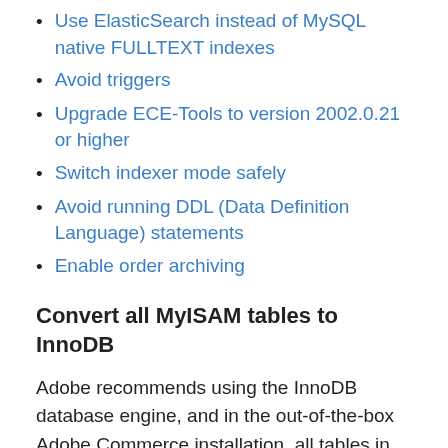Use ElasticSearch instead of MySQL native FULLTEXT indexes
Avoid triggers
Upgrade ECE-Tools to version 2002.0.21 or higher
Switch indexer mode safely
Avoid running DDL (Data Definition Language) statements
Enable order archiving
Convert all MyISAM tables to InnoDB
Adobe recommends using the InnoDB database engine, and in the out-of-the-box Adobe Commerce installation, all tables in the